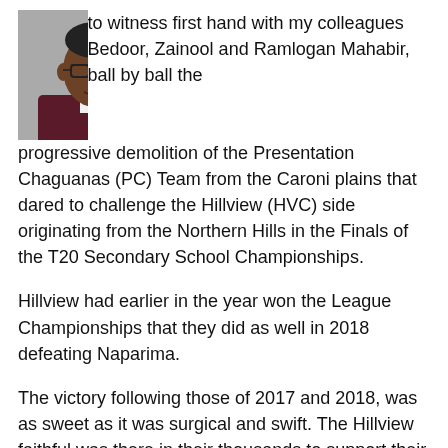[Figure (photo): Portrait photo of an older man wearing glasses and a dark maroon/burgundy jacket with a white shirt]
to witness first hand with my colleagues Bedoor, Zainool and Ramlogan Mahabir, ball by ball the progressive demolition of the Presentation Chaguanas (PC) Team from the Caroni plains that dared to challenge the Hillview (HVC) side originating from the Northern Hills in the Finals of the T20 Secondary School Championships.
Hillview had earlier in the year won the League Championships that they did as well in 2018 defeating Naparima.
The victory following those of 2017 and 2018, was as sweet as it was surgical and swift. The Hillview faithful was there in their thousands to support their willow and leather machine flying the maroon and gold standard on the greens of the Tarouba oval.
I had no doubt that the Hillviewers would have successfully